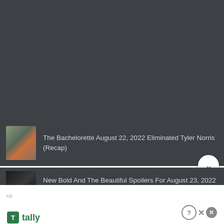[Figure (screenshot): Dark gray website background area at top of page, approximately 240px tall]
The Bachelorette August 22, 2022 Eliminated Tyler Norris (Recap)
New Bold And The Beautiful Spoilers For August 23, 2022
AD
[Figure (screenshot): Tally advertisement banner: Tally logo with green icon, tagline 'Fast credit card payoff', Download Now button in green, and close/help X buttons]